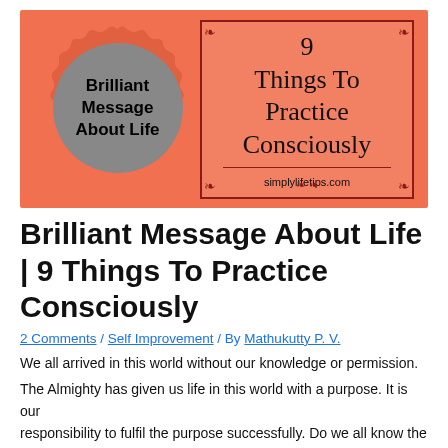[Figure (illustration): Blog post header image with salmon/orange background. Left side has a decorative gray seal/badge with text 'Brilliant Message About Life'. Right side has a dark-red decorative border box with text '9 Things To Practice Consciously' and 'simplylifetips.com' below.]
Brilliant Message About Life | 9 Things To Practice Consciously
2 Comments / Self Improvement / By Mathukutty P. V.
We all arrived in this world without our knowledge or permission.
The Almighty has given us life in this world with a purpose. It is our responsibility to fulfil the purpose successfully. Do we all know the